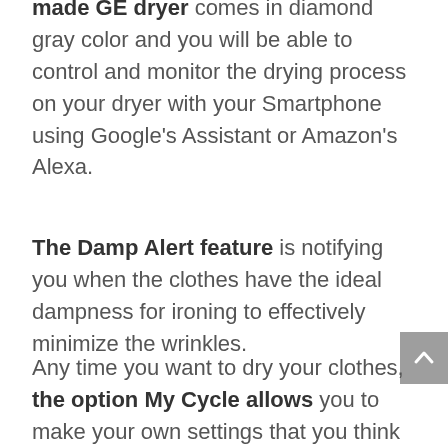made GE dryer comes in diamond gray color and you will be able to control and monitor the drying process on your dryer with your Smartphone using Google's Assistant or Amazon's Alexa.
The Damp Alert feature is notifying you when the clothes have the ideal dampness for ironing to effectively minimize the wrinkles.
Any time you want to dry your clothes, the option My Cycle allows you to make your own settings that you think are best for your clothes and remember them for later use, rather than the settings by defaults